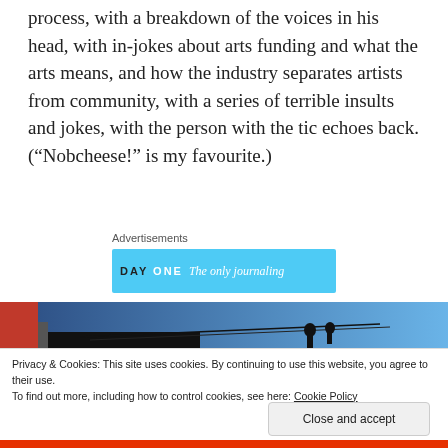process, with a breakdown of the voices in his head, with in-jokes about arts funding and what the arts means, and how the industry separates artists from community, with a series of terrible insults and jokes, with the person with the tic echoes back. (“Nobcheese!” is my favourite.)
Advertisements
[Figure (screenshot): DAY ONE app advertisement banner with light blue background and text 'The only journaling']
[Figure (photo): Dark photo showing what appears to be a structure against a blue sky, with red and dark tones]
Privacy & Cookies: This site uses cookies. By continuing to use this website, you agree to their use.
To find out more, including how to control cookies, see here: Cookie Policy
Close and accept